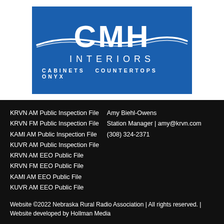[Figure (logo): CMH Interiors logo — blue background with white letters CMH, decorative wave swooshes, and text 'INTERIORS' and 'CABINETS COUNTERTOPS ONYX' below]
KRVN AM Public Inspection File
KRVN FM Public Inspection File
KAMI AM Public Inspection File
KUVR AM Public Inspection File
KRVN AM EEO Public File
KRVN FM EEO Public File
KAMI AM EEO Public File
KUVR AM EEO Public File
Amy Biehl-Owens
Station Manager | amy@krvn.com
(308) 324-2371
Website ©2022 Nebraska Rural Radio Association | All rights reserved. | Website developed by Hollman Media